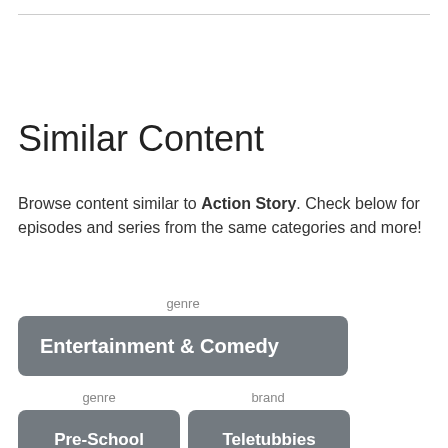Similar Content
Browse content similar to Action Story. Check below for episodes and series from the same categories and more!
genre
Entertainment & Comedy
genre
brand
Pre-School
Teletubbies